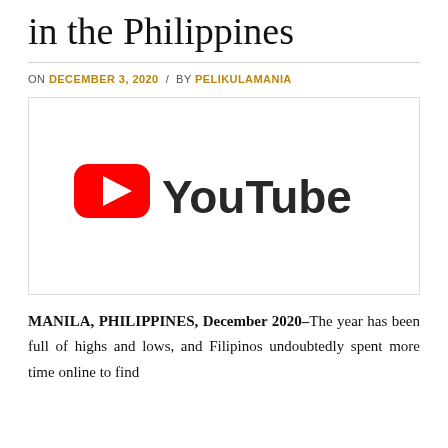in the Philippines
ON DECEMBER 3, 2020 / BY PELIKULAMANIA
[Figure (logo): YouTube logo: red rectangle with white play triangle on left, 'YouTube' text in dark grey on right]
MANILA, PHILIPPINES, December 2020–The year has been full of highs and lows, and Filipinos undoubtedly spent more time online to find